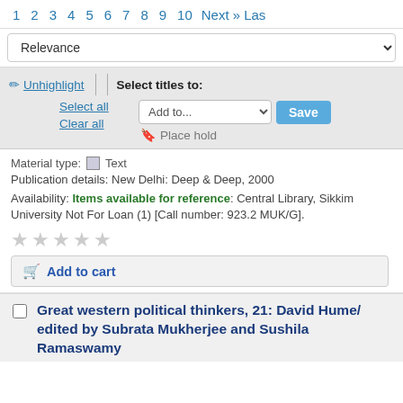1  2  3  4  5  6  7  8  9  10  Next »  Las
Relevance
✏ Unhighlight | Select titles to: Select all  Add to...  Save  Clear all  🔖 Place hold
Material type: Text
Publication details: New Delhi: Deep & Deep, 2000
Availability: Items available for reference: Central Library, Sikkim University Not For Loan (1) [Call number: 923.2 MUK/G].
★★★★★
Add to cart
Great western political thinkers, 21: David Hume/ edited by Subrata Mukherjee and Sushila Ramaswamy